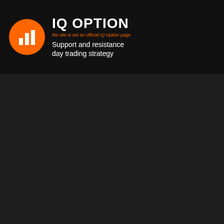[Figure (logo): IQ Option logo: orange circle with white bar chart icon, followed by bold white IQ OPTION text, orange italic disclaimer text 'the site is not an official IQ Option page', and white subtitle text 'Support and resistance day trading strategy']